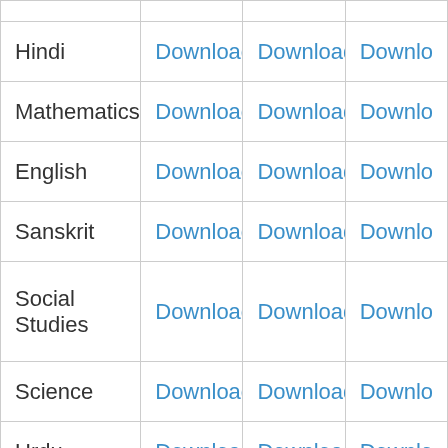| Subject | Download | Download | Download |
| --- | --- | --- | --- |
| Hindi | Download | Download | Download |
| Mathematics | Download | Download | Download |
| English | Download | Download | Download |
| Sanskrit | Download | Download | Download |
| Social Studies | Download | Download | Download |
| Science | Download | Download | Download |
| Urdu | Download | Download | Download |